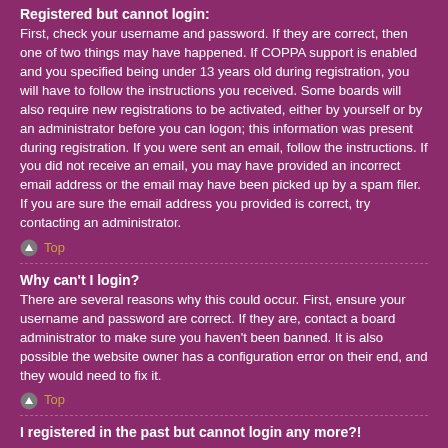Registered but cannot login:
First, check your username and password. If they are correct, then one of two things may have happened. If COPPA support is enabled and you specified being under 13 years old during registration, you will have to follow the instructions you received. Some boards will also require new registrations to be activated, either by yourself or by an administrator before you can logon; this information was present during registration. If you were sent an email, follow the instructions. If you did not receive an email, you may have provided an incorrect email address or the email may have been picked up by a spam filer. If you are sure the email address you provided is correct, try contacting an administrator.
Top
Why can't I login?
There are several reasons why this could occur. First, ensure your username and password are correct. If they are, contact a board administrator to make sure you haven't been banned. It is also possible the website owner has a configuration error on their end, and they would need to fix it.
Top
I registered in the past but cannot login any more?!
It is possible an administrator has deactivated or deleted your account for some reason. Also, many boards periodically remove users who have not posted for a long time to reduce the size of the database. If this has happened, try registering again and being more involved in discussions.